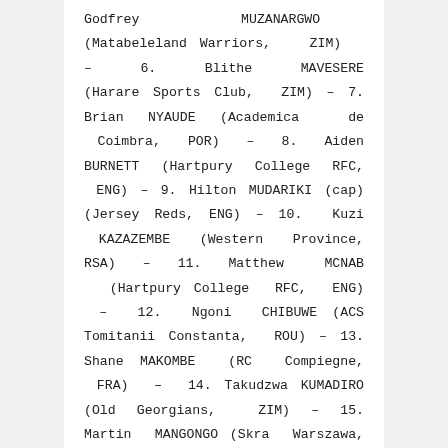Godfrey MUZANARGWO (Matabeleland Warriors, ZIM) – 6. Blithe MAVESERE (Harare Sports Club, ZIM) – 7. Brian NYAUDE (Academica de Coimbra, POR) – 8. Aiden BURNETT (Hartpury College RFC, ENG) – 9. Hilton MUDARIKI (cap) (Jersey Reds, ENG) – 10. Kuzi KAZAZEMBE (Western Province, RSA) – 11. Matthew MCNAB (Hartpury College RFC, ENG) – 12. Ngoni CHIBUWE (ACS Tomitanii Constanta, ROU) – 13. Shane MAKOMBE (RC Compiegne, FRA) – 14. Takudzwa KUMADIRO (Old Georgians, ZIM) – 15. Martin MANGONGO (Skra Warszawa, POL) / Banc: 16. Keith MURRAY (Old Georgians, ZIM) – 17. Tatenda RWENYU (Libre) – 18. Royal MWALE (Benfica Lisbon, POR) – 19. Biselele TSHAMALA